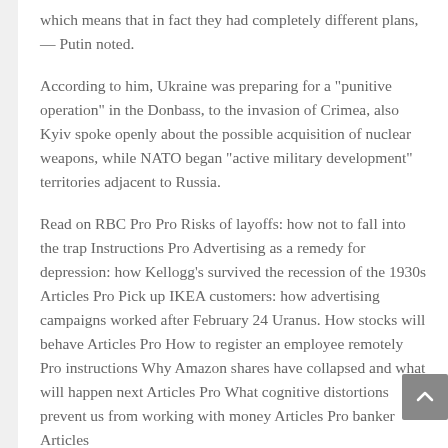which means that in fact they had completely different plans, — Putin noted.
According to him, Ukraine was preparing for a "punitive operation" in the Donbass, to the invasion of Crimea, also Kyiv spoke openly about the possible acquisition of nuclear weapons, while NATO began "active military development" territories adjacent to Russia.
Read on RBC Pro Pro Risks of layoffs: how not to fall into the trap Instructions Pro Advertising as a remedy for depression: how Kellogg's survived the recession of the 1930s Articles Pro Pick up IKEA customers: how advertising campaigns worked after February 24 Uranus. How stocks will behave Articles Pro How to register an employee remotely Pro instructions Why Amazon shares have collapsed and what will happen next Articles Pro What cognitive distortions prevent us from working with money Articles Pro banker Articles
He stressed that the military special operation in Ukraine was the only way for Russia to forestall aggression against its own territory.